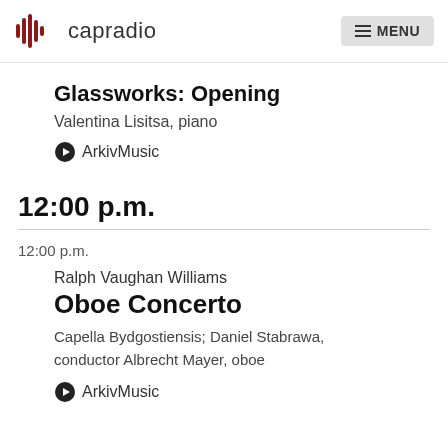capradio  MENU
Glassworks: Opening
Valentina Lisitsa, piano
ArkivMusic
12:00 p.m.
12:00 p.m.
Ralph Vaughan Williams
Oboe Concerto
Capella Bydgostiensis; Daniel Stabrawa, conductor Albrecht Mayer, oboe
ArkivMusic